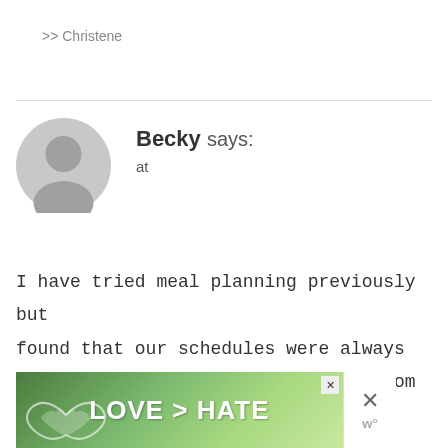>> Christene
[Figure (illustration): Gray circular avatar with silhouette of a person (default user icon)]
Becky says:
at
I have tried meal planning previously but found that our schedules were always changing. I am now a stay at home mom so I am going to give it another try! Thanks for the advice!!
[Figure (photo): Advertisement banner reading LOVE > HATE with hands forming a heart shape in front of green foliage background, with close X buttons]